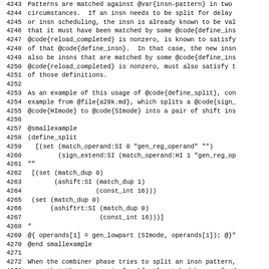4243 Patterns are matched against @var{insn-pattern} in two
4244 circumstances.  If an insn needs to be split for delay
4245 or insn scheduling, the insn is already known to be val
4246 that it must have been matched by some @code{define_ins
4247 @code{reload_completed} is nonzero, is known to satisfy
4248 of that @code{define_insn}.  In that case, the new insn
4249 also be insns that are matched by some @code{define_ins
4250 @code{reload_completed} is nonzero, must also satisfy t
4251 of those definitions.
4252
4253 As an example of this usage of @code{define_split}, con
4254 example from @file{a29k.md}, which splits a @code{sign_
4255 @code{HImode} to @code{SImode} into a pair of shift ins
4256
4257 @smallexample
4258 (define_split
4259   [(set (match_operand:SI 0 "gen_reg_operand" "")
4260         (sign_extend:SI (match_operand:HI 1 "gen_reg_op
4261 ""
4262   [(set (match_dup 0)
4263         (ashift:SI (match_dup 1)
4264                    (const_int 16)))
4265  (set (match_dup 0)
4266        (ashiftrt:SI (match_dup 0)
4267                     (const_int 16)))]
4268 "
4269 @{ operands[1] = gen_lowpart (SImode, operands[1]); @}"
4270 @end smallexample
4271
4272 When the combiner phase tries to split an insn pattern,
4273 case that the pattern is @emph{not} matched by any @cod
4274 The combiner pass first tries to split a single @code{s
[Figure (other): Source code listing with line numbers 4243-4274 showing GCC RTL define_split example]